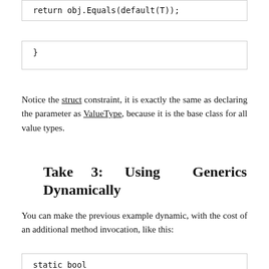return obj.Equals(default(T));
}
Notice the struct constraint, it is exactly the same as declaring the parameter as ValueType, because it is the base class for all value types.
Take 3: Using Generics Dynamically
You can make the previous example dynamic, with the cost of an additional method invocation, like this:
static bool